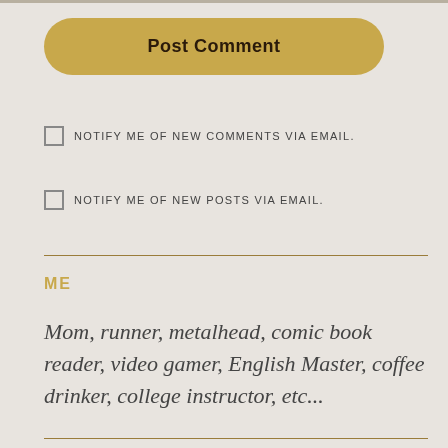Post Comment
NOTIFY ME OF NEW COMMENTS VIA EMAIL.
NOTIFY ME OF NEW POSTS VIA EMAIL.
ME
Mom, runner, metalhead, comic book reader, video gamer, English Master, coffee drinker, college instructor, etc...